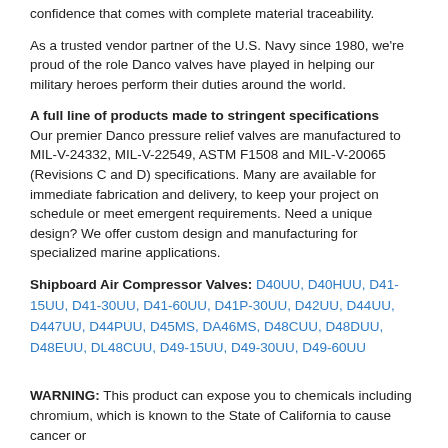confidence that comes with complete material traceability.
As a trusted vendor partner of the U.S. Navy since 1980, we're proud of the role Danco valves have played in helping our military heroes perform their duties around the world.
A full line of products made to stringent specifications
Our premier Danco pressure relief valves are manufactured to MIL-V-24332, MIL-V-22549, ASTM F1508 and MIL-V-20065 (Revisions C and D) specifications. Many are available for immediate fabrication and delivery, to keep your project on schedule or meet emergent requirements. Need a unique design? We offer custom design and manufacturing for specialized marine applications.
Shipboard Air Compressor Valves: D40UU, D40HUU, D41-15UU, D41-30UU, D41-60UU, D41P-30UU, D42UU, D44UU, D447UU, D44PUU, D45MS, DA46MS, D48CUU, D48DUU, D48EUU, DL48CUU, D49-15UU, D49-30UU, D49-60UU
WARNING: This product can expose you to chemicals including chromium, which is known to the State of California to cause cancer or